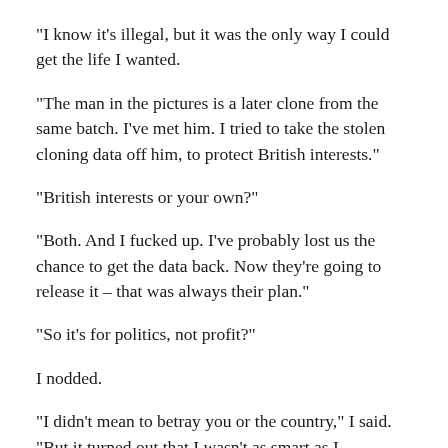“I know it’s illegal, but it was the only way I could get the life I wanted.
“The man in the pictures is a later clone from the same batch. I’ve met him. I tried to take the stolen cloning data off him, to protect British interests.”
“British interests or your own?”
“Both. And I fucked up. I’ve probably lost us the chance to get the data back. Now they’re going to release it – that was always their plan.”
“So it’s for politics, not profit?”
I nodded.
“I didn’t mean to betray you or the country,” I said. “But it turned out that I wasn’t as smart as I